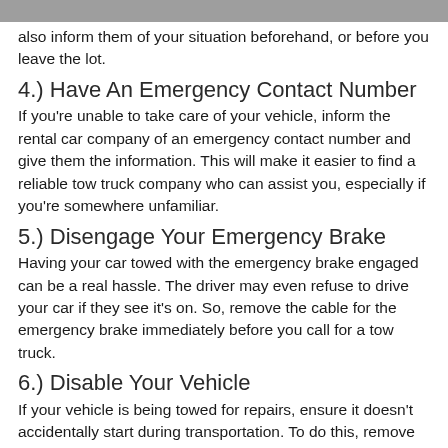also inform them of your situation beforehand, or before you leave the lot.
4.) Have An Emergency Contact Number
If you're unable to take care of your vehicle, inform the rental car company of an emergency contact number and give them the information. This will make it easier to find a reliable tow truck company who can assist you, especially if you're somewhere unfamiliar.
5.) Disengage Your Emergency Brake
Having your car towed with the emergency brake engaged can be a real hassle. The driver may even refuse to drive your car if they see it's on. So, remove the cable for the emergency brake immediately before you call for a tow truck.
6.) Disable Your Vehicle
If your vehicle is being towed for repairs, ensure it doesn't accidentally start during transportation. To do this, remove the keys from the ignition and lock your doors, to prevent a thief or passer-by from stealing it. If